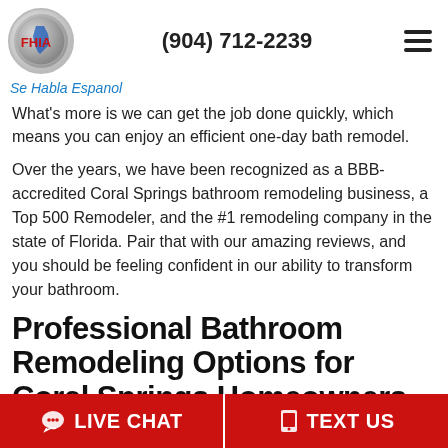FHIA logo | (904) 712-2239 | menu
Se Habla Espanol
What's more is we can get the job done quickly, which means you can enjoy an efficient one-day bath remodel.
Over the years, we have been recognized as a BBB-accredited Coral Springs bathroom remodeling business, a Top 500 Remodeler, and the #1 remodeling company in the state of Florida. Pair that with our amazing reviews, and you should be feeling confident in our ability to transform your bathroom.
Professional Bathroom Remodeling Options for Coral Springs Homeowners
Remodeling your bathroom may seem like an overwhelming
LIVE CHAT | TEXT US